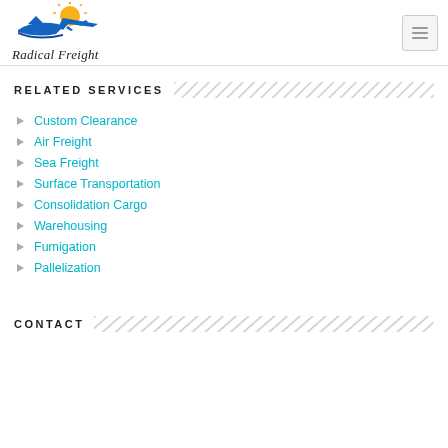[Figure (logo): Radical Freight logo with ship, sun, and airplane graphic above italic text 'Radical Freight']
RELATED SERVICES
Custom Clearance
Air Freight
Sea Freight
Surface Transportation
Consolidation Cargo
Warehousing
Fumigation
Pallelization
CONTACT